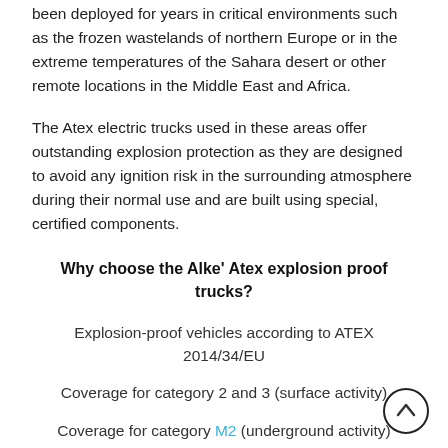been deployed for years in critical environments such as the frozen wastelands of northern Europe or in the extreme temperatures of the Sahara desert or other remote locations in the Middle East and Africa.
The Atex electric trucks used in these areas offer outstanding explosion protection as they are designed to avoid any ignition risk in the surrounding atmosphere during their normal use and are built using special, certified components.
Why choose the Alke' Atex explosion proof trucks?
Explosion-proof vehicles according to ATEX 2014/34/EU
Coverage for category 2 and 3 (surface activity)
Coverage for category M2 (underground activity)